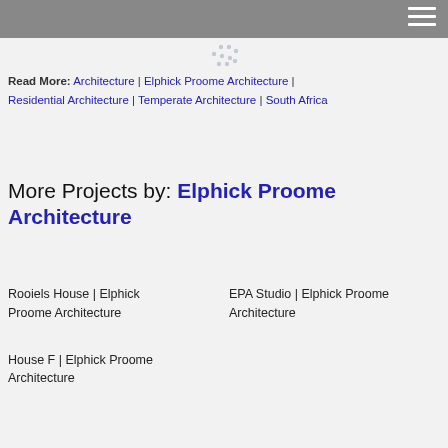Read More: Architecture | Elphick Proome Architecture | Residential Architecture | Temperate Architecture | South Africa
More Projects by: Elphick Proome Architecture
Rooiels House | Elphick Proome Architecture
EPA Studio | Elphick Proome Architecture
House F | Elphick Proome Architecture